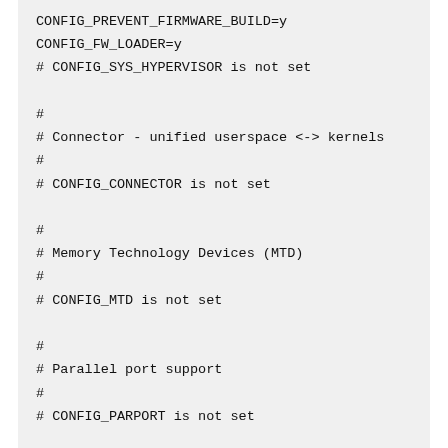CONFIG_PREVENT_FIRMWARE_BUILD=y
CONFIG_FW_LOADER=y
# CONFIG_SYS_HYPERVISOR is not set

#
# Connector - unified userspace <-> kernels
#
# CONFIG_CONNECTOR is not set

#
# Memory Technology Devices (MTD)
#
# CONFIG_MTD is not set

#
# Parallel port support
#
# CONFIG_PARPORT is not set